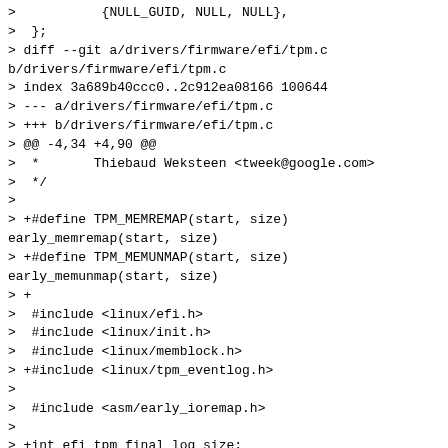>           {NULL_GUID, NULL, NULL},
>  };
> diff --git a/drivers/firmware/efi/tpm.c b/drivers/firmware/efi/tpm.c
> index 3a689b40ccc0..2c912ea08166 100644
> --- a/drivers/firmware/efi/tpm.c
> +++ b/drivers/firmware/efi/tpm.c
> @@ -4,34 +4,90 @@
>  *       Thiebaud Weksteen <tweek@google.com>
>  */
>
> +#define TPM_MEMREMAP(start, size) early_memremap(start, size)
> +#define TPM_MEMUNMAP(start, size) early_memunmap(start, size)
> +
>  #include <linux/efi.h>
>  #include <linux/init.h>
>  #include <linux/memblock.h>
> +#include <linux/tpm_eventlog.h>
>
>  #include <asm/early_ioremap.h>
>
> +int efi_tpm_final_log_size;
> +EXPORT_SYMBOL(efi_tpm_final_log_size);
> +
> +static int tpm2_calc_event_log_size(void *data, int count, void *size_info)
> +{
> +       struct tcg_pcr_event2_head *header;